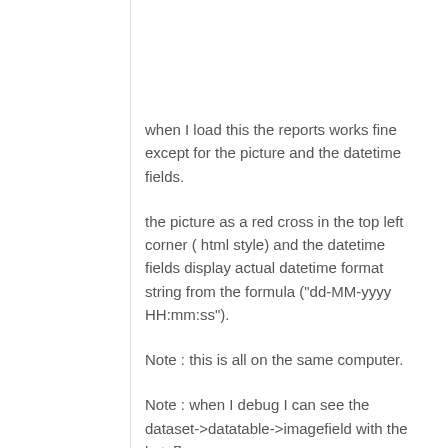when I load this the reports works fine except for the picture and the datetime fields.
the picture as a red cross in the top left corner ( html style) and the datetime fields display actual datetime format string from the formula ("dd-MM-yyyy HH:mm:ss").
Note : this is all on the same computer.
Note : when I debug I can see the dataset->datatable->imagefield with the byte[] array.
any ideas?